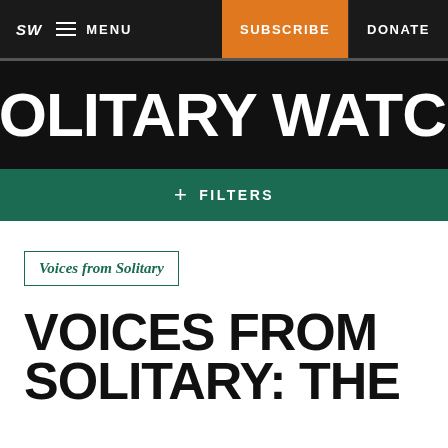SW  ≡ MENU  SUBSCRIBE  DONATE
SOLITARY WATCH
+ FILTERS
Voices from Solitary
VOICES FROM SOLITARY: THE